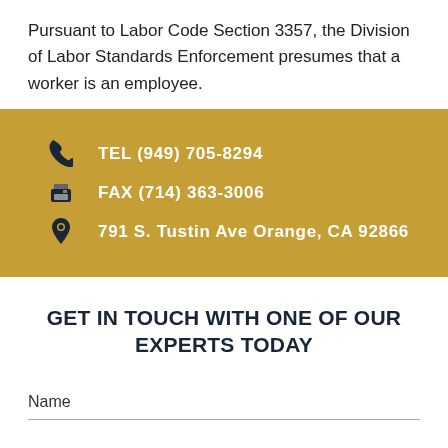Pursuant to Labor Code Section 3357, the Division of Labor Standards Enforcement presumes that a worker is an employee.
[Figure (infographic): Gold banner with contact information: phone icon with TEL (949) 705-8294, printer/fax icon with FAX (714) 363-3006, location pin icon with 791 S. Tustin Ave Orange, CA 92866]
GET IN TOUCH WITH ONE OF OUR EXPERTS TODAY
Name